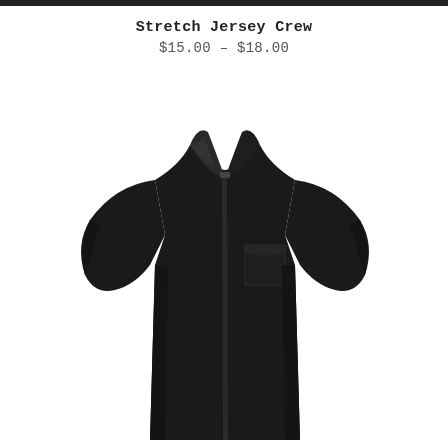Stretch Jersey Crew
$15.00 – $18.00
[Figure (photo): Black short-sleeve button-up shirt with collar and left chest pocket, displayed on invisible mannequin against white background]